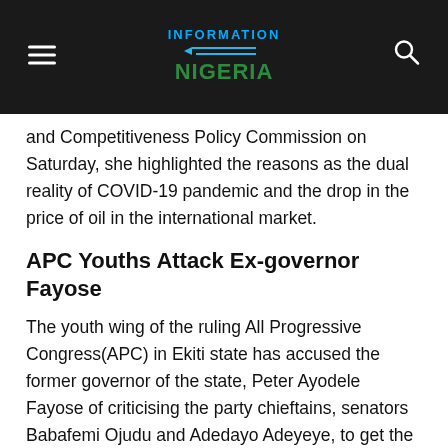Information Nigeria
and Competitiveness Policy Commission on Saturday, she highlighted the reasons as the dual reality of COVID-19 pandemic and the drop in the price of oil in the international market.
APC Youths Attack Ex-governor Fayose
The youth wing of the ruling All Progressive Congress(APC) in Ekiti state has accused the former governor of the state, Peter Ayodele Fayose of criticising the party chieftains, senators Babafemi Ojudu and Adedayo Adeyeye, to get the attention of the state governor, Kayode Fayemi.
The duo of Ojudu and Adeyeye have been in a standoff with Fayemi in the last few days.